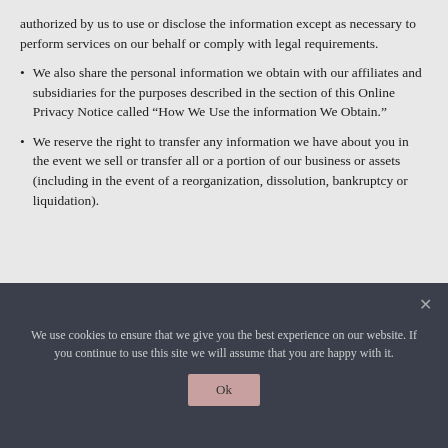authorized by us to use or disclose the information except as necessary to perform services on our behalf or comply with legal requirements.
We also share the personal information we obtain with our affiliates and subsidiaries for the purposes described in the section of this Online Privacy Notice called “How We Use the information We Obtain.”
We reserve the right to transfer any information we have about you in the event we sell or transfer all or a portion of our business or assets (including in the event of a reorganization, dissolution, bankruptcy or liquidation).
We use cookies to ensure that we give you the best experience on our website. If you continue to use this site we will assume that you are happy with it.